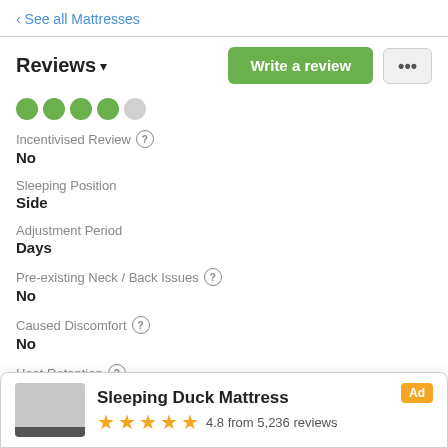‹ See all Mattresses
Reviews ▾
[Figure (other): Star rating dots: 4 filled green, 1 empty gray]
Incentivised Review ? No
Sleeping Position Side
Adjustment Period Days
Pre-existing Neck / Back Issues ? No
Caused Discomfort ? No
Heat Retention ? Yes
Sleeping Duck Mattress — Ad — 4.8 from 5,236 reviews